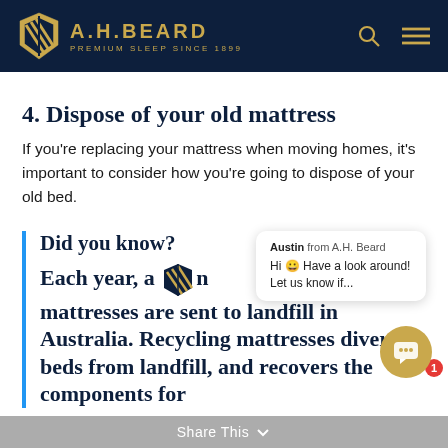A.H. BEARD — PREMIUM SLEEP SINCE 1899
4. Dispose of your old mattress
If you're replacing your mattress when moving homes, it's important to consider how you're going to dispose of your old bed.
Did you know?
Each year, around [icon] mattresses are sent to landfill in Australia. Recycling mattresses diverts beds from landfill, and recovers the components for
Austin from A.H. Beard
Hi 😀 Have a look around! Let us know if...
Share This